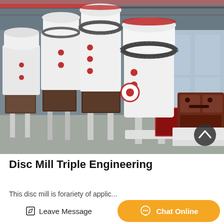[Figure (photo): Industrial grinding/disc mill machines lined up in a factory warehouse. White cylindrical mills with red accents, chain assemblies at the top, rectangular outlet chutes at the bottom on legs. A dark red mechanical assembly visible on the right side. Factory ceiling with steel trusses and windows in background.]
Disc Mill Triple Engineering
This disc mill is forariety of applic...
Leave Message
Chat Online